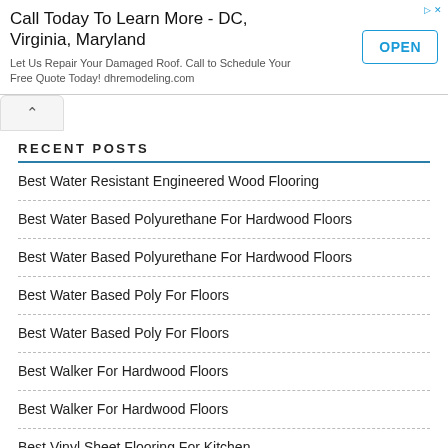[Figure (other): Advertisement banner: 'Call Today To Learn More - DC, Virginia, Maryland' with OPEN button. Subtitle: 'Let Us Repair Your Damaged Roof. Call to Schedule Your Free Quote Today! dhremodeling.com']
RECENT POSTS
Best Water Resistant Engineered Wood Flooring
Best Water Based Polyurethane For Hardwood Floors
Best Water Based Polyurethane For Hardwood Floors
Best Water Based Poly For Floors
Best Water Based Poly For Floors
Best Walker For Hardwood Floors
Best Walker For Hardwood Floors
Best Vinyl Sheet Flooring For Kitchen